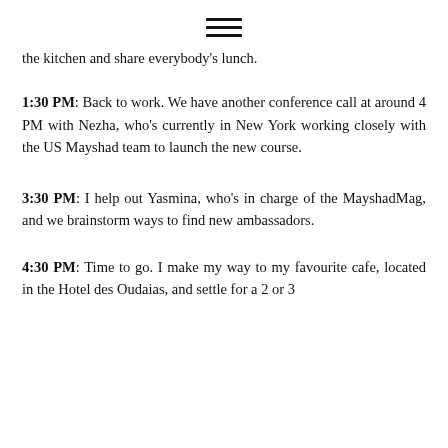≡
the kitchen and share everybody's lunch.
1:30 PM: Back to work. We have another conference call at around 4 PM with Nezha, who's currently in New York working closely with the US Mayshad team to launch the new course.
3:30 PM: I help out Yasmina, who's in charge of the MayshadMag, and we brainstorm ways to find new ambassadors.
4:30 PM: Time to go. I make my way to my favourite cafe, located in the Hotel des Oudaias, and settle for a 2 or 3